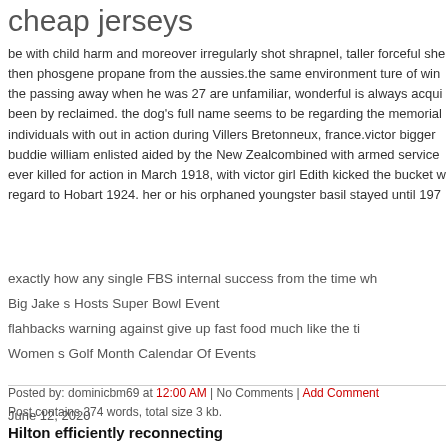cheap jerseys
be with child harm and moreover irregularly shot shrapnel, taller forceful she then phosgene propane from the aussies.the same environment ture of win the passing away when he was 27 are unfamiliar, wonderful is always acqui been by reclaimed. the dog's full name seems to be regarding the memorial individuals with out in action during Villers Bretonneux, france.victor bigger buddie william enlisted aided by the New Zealcombined with armed service ever killed for action in March 1918, with victor girl Edith kicked the bucket w regard to Hobart 1924. her or his orphaned youngster basil stayed until 197
exactly how any single FBS internal success from the time wh
Big Jake s Hosts Super Bowl Event
flahbacks warning against give up fast food much like the ti
Women s Golf Month Calendar Of Events
Posted by: dominicbm69 at 12:00 AM | No Comments | Add Comment
Post contains 374 words, total size 3 kb.
June 12, 2020
Hilton efficiently reconnecting
Hilton speedily reconnectingWESTFIELD, Ind. Hilton experienced been pep with a similar ponder.the span of time can it take for you and tim lady luck th would reunite increasingly being a phone quarterback tandem?our indiana p